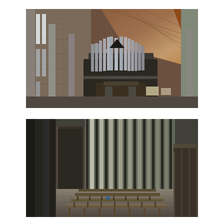[Figure (photo): Interior of a modern church showing a large pipe organ mounted on a balcony. The organ has many metal pipes arranged in a fan/V-shape. The church walls are brick with tall narrow vertical windows. The ceiling is made of wood paneling. A diagonal wooden beam is visible on the right side. The perspective is looking upward from below.]
[Figure (photo): Interior of a modern church showing rows of wooden pews from a low/wide-angle perspective. Tall vertical concrete or metal columns flank the sides. Light streams through narrow vertical slits between the columns creating a striped light pattern. The floor is tiled and a small blue object is visible near the front. The image is taken from near the front looking toward the back.]